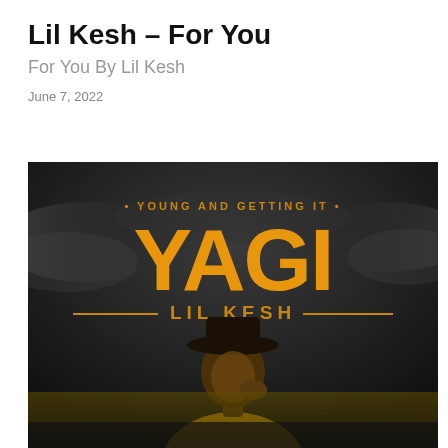Lil Kesh – For You
For You By Lil Kesh
June 7, 2022
[Figure (photo): Album cover art for Lil Kesh's YAGI (Young And Getting It) album. Dark, moody background with dramatic clouds. Large orange/gold bold text reads 'YAGI' at the top center, with smaller text '• YOUNG AND GETTING IT •' above it. Below YAGI, in orange/gold text with horizontal lines on either side: '— LIL KESH —'. In the lower portion of the image, a young man wearing a black wide-brim hat and a yellow jacket is shown from the shoulders up, posed thoughtfully with his hand near his face.]